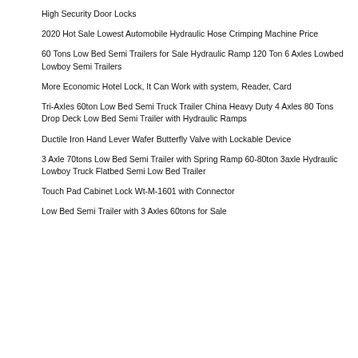High Security Door Locks
2020 Hot Sale Lowest Automobile Hydraulic Hose Crimping Machine Price
60 Tons Low Bed Semi Trailers for Sale Hydraulic Ramp 120 Ton 6 Axles Lowbed Lowboy Semi Trailers
More Economic Hotel Lock, It Can Work with system, Reader, Card
Tri-Axles 60ton Low Bed Semi Truck Trailer China Heavy Duty 4 Axles 80 Tons Drop Deck Low Bed Semi Trailer with Hydraulic Ramps
Ductile Iron Hand Lever Wafer Butterfly Valve with Lockable Device
3 Axle 70tons Low Bed Semi Trailer with Spring Ramp 60-80ton 3axle Hydraulic Lowboy Truck Flatbed Semi Low Bed Trailer
Touch Pad Cabinet Lock Wt-M-1601 with Connector
Low Bed Semi Trailer with 3 Axles 60tons for Sale